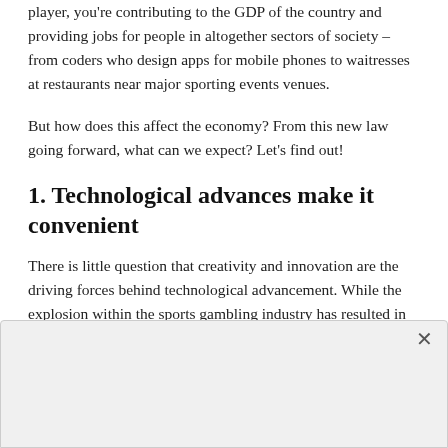player, you're contributing to the GDP of the country and providing jobs for people in altogether sectors of society – from coders who design apps for mobile phones to waitresses at restaurants near major sporting events venues.
But how does this affect the economy? From this new law going forward, what can we expect? Let's find out!
1. Technological advances make it convenient
There is little question that creativity and innovation are the driving forces behind technological advancement. While the explosion within the sports gambling industry has resulted in
[Figure (other): Overlay/modal box with close X button in top right corner, partially covering page content]